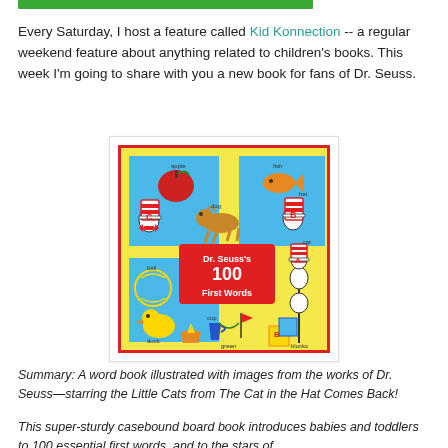[Figure (other): Green banner/bar at top of page]
Every Saturday, I host a feature called Kid Konnection -- a regular weekend feature about anything related to children's books. This week I'm going to share with you a new book for fans of Dr. Seuss.
[Figure (photo): Book cover of 'Dr. Seuss's 100 First Words' featuring illustrated characters from Dr. Seuss including Little Cats with tall striped hats, various objects labeled with their names like apple, fish, dog, hat, duck, cup, ball, blocks, on a yellow background with a red border and red center label.]
Summary: A word book illustrated with images from the works of Dr. Seuss—starring the Little Cats from The Cat in the Hat Comes Back!
This super-sturdy casebound board book introduces babies and toddlers to 100 essential first words, and to the stars of...